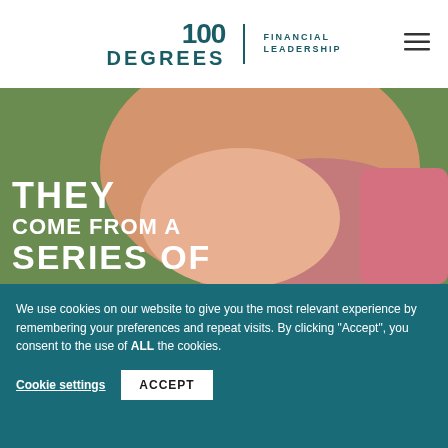[Figure (logo): 100 Degrees Financial Leadership logo with teal text]
[Figure (photo): Person in pink sleeveless top outdoors with text overlay: THEY COME FROM A SERIES OF]
[Figure (photo): Small birds or flowers on light background with copy/duplicate icon overlay]
We use cookies on our website to give you the most relevant experience by remembering your preferences and repeat visits. By clicking “Accept”, you consent to the use of ALL the cookies.
Cookie settings
ACCEPT